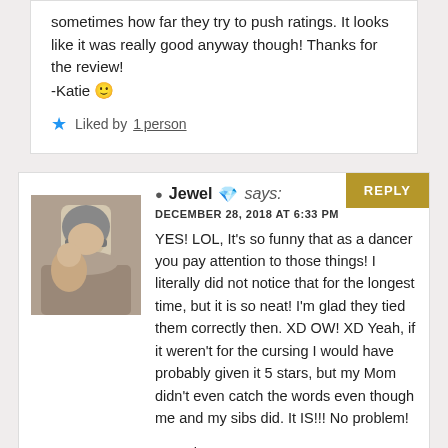sometimes how far they try to push ratings. It looks like it was really good anyway though! Thanks for the review!
-Katie 🙂
★ Liked by 1person
Jewel 💎 says:
DECEMBER 28, 2018 AT 6:33 PM
YES! LOL, It's so funny that as a dancer you pay attention to those things! I literally did not notice that for the longest time, but it is so neat! I'm glad they tied them correctly then. XD OW! XD Yeah, if it weren't for the cursing I would have probably given it 5 stars, but my Mom didn't even catch the words even though me and my sibs did. It IS!!! No problem!

-Jewel